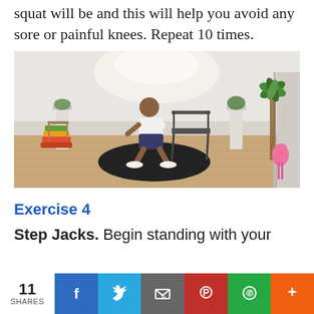squat will be and this will help you avoid any sore or painful knees. Repeat 10 times.
[Figure (photo): Person performing a squat exercise near a folding chair in a room with wood floors, a black circular mat, potted plants, a decorative flamingo, and a palm tree decoration.]
Exercise 4
Step Jacks. Begin standing with your
11 SHARES | Facebook | Twitter | Email | Pinterest | WhatsApp | More